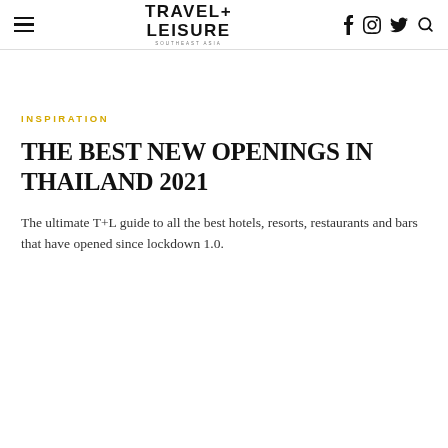TRAVEL+ LEISURE
INSPIRATION
THE BEST NEW OPENINGS IN THAILAND 2021
The ultimate T+L guide to all the best hotels, resorts, restaurants and bars that have opened since lockdown 1.0.